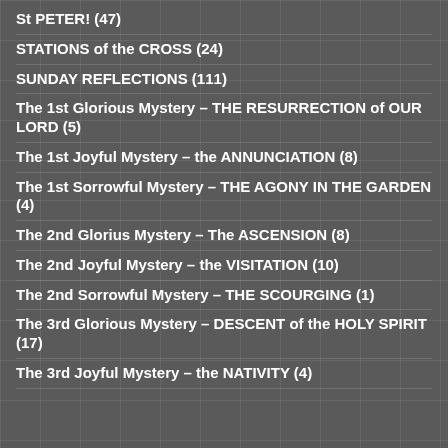St PETER! (47)
STATIONS of the CROSS (24)
SUNDAY REFLECTIONS (111)
The 1st Glorious Mystery – THE RESURRECTION of OUR LORD (5)
The 1st Joyful Mystery – the ANNUNCIATION (8)
The 1st Sorrowful Mystery – THE AGONY IN THE GARDEN (4)
The 2nd Glorius Mystery – The ASCENSION (8)
The 2nd Joyful Mystery – the VISITATION (10)
The 2nd Sorrowful Mystery – THE SCOURGING (1)
The 3rd Glorious Mystery – DESCENT of the HOLY SPIRIT (17)
The 3rd Joyful Mystery – the NATIVITY (4)